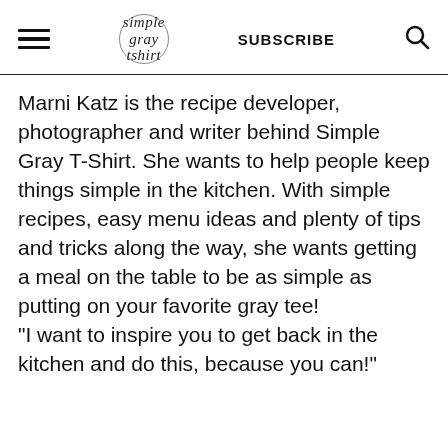simple gray tshirt | SUBSCRIBE
Marni Katz is the recipe developer, photographer and writer behind Simple Gray T-Shirt. She wants to help people keep things simple in the kitchen. With simple recipes, easy menu ideas and plenty of tips and tricks along the way, she wants getting a meal on the table to be as simple as putting on your favorite gray tee! "I want to inspire you to get back in the kitchen and do this, because you can!"